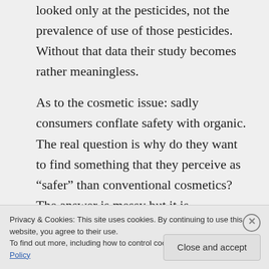looked only at the pesticides, not the prevalence of use of those pesticides. Without that data their study becomes rather meaningless.
As to the cosmetic issue: sadly consumers conflate safety with organic. The real question is why do they want to find something that they perceive as “safer” than conventional cosmetics? The answer is messy but it is
Privacy & Cookies: This site uses cookies. By continuing to use this website, you agree to their use.
To find out more, including how to control cookies, see here: Cookie Policy
Close and accept